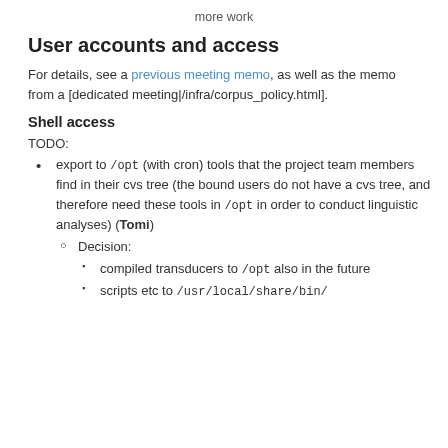more work
User accounts and access
For details, see a previous meeting memo, as well as the memo from a [dedicated meeting|/infra/corpus_policy.html].
Shell access
TODO:
export to /opt (with cron) tools that the project team members find in their cvs tree (the bound users do not have a cvs tree, and therefore need these tools in /opt in order to conduct linguistic analyses) (Tomi)
Decision:
compiled transducers to /opt also in the future
scripts etc to /usr/local/share/bin/